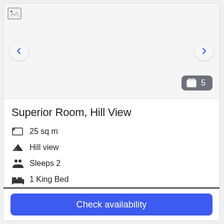[Figure (screenshot): Hotel room image carousel placeholder with navigation arrows and photo count badge showing 5]
Superior Room, Hill View
25 sq m
Hill view
Sleeps 2
1 King Bed
More details >
Check availability